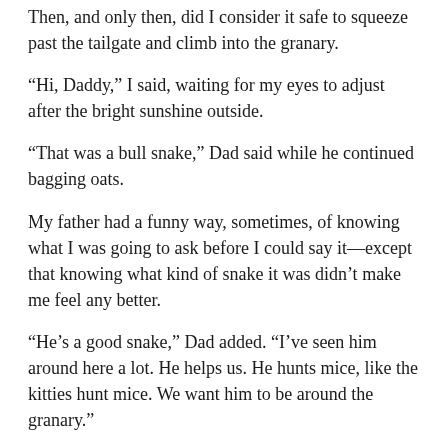Then, and only then, did I consider it safe to squeeze past the tailgate and climb into the granary.
“Hi, Daddy,” I said, waiting for my eyes to adjust after the bright sunshine outside.
“That was a bull snake,” Dad said while he continued bagging oats.
My father had a funny way, sometimes, of knowing what I was going to ask before I could say it—except that knowing what kind of snake it was didn’t make me feel any better.
“He’s a good snake,” Dad added. “I’ve seen him around here a lot. He helps us. He hunts mice, like the kitties hunt mice. We want him to be around the granary.”
“He’s a good snake?”
As far as I was concerned, there was no such a thing as a ‘good’ snake.